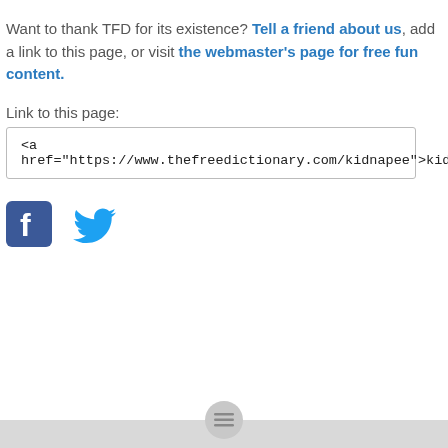Want to thank TFD for its existence? Tell a friend about us, add a link to this page, or visit the webmaster's page for free fun content.
Link to this page:
<a href="https://www.thefreedictionary.com/kidnapee">kidnap</a>
[Figure (logo): Facebook and Twitter social media icon buttons]